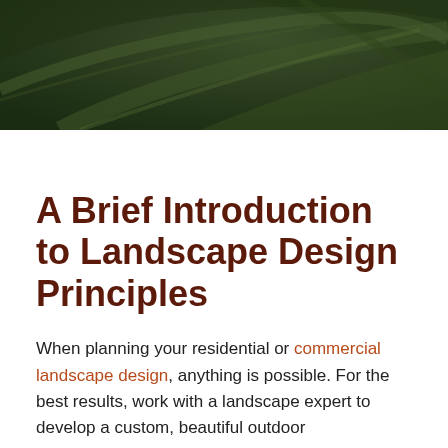[Figure (photo): Dark green tropical leaf background image, close-up with curved lines, occupying the top portion of the page]
A Brief Introduction to Landscape Design Principles
When planning your residential or commercial landscape design, anything is possible. For the best results, work with a landscape expert to develop a custom, beautiful outdoor